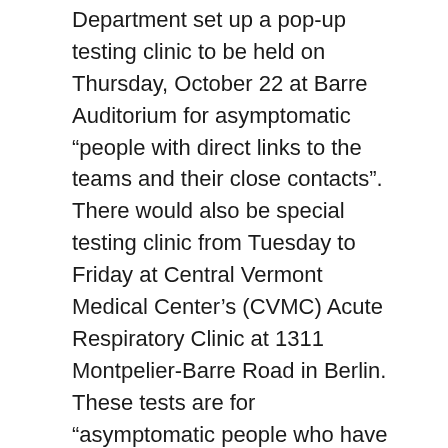Department set up a pop-up testing clinic to be held on Thursday, October 22 at Barre Auditorium for asymptomatic “people with direct links to the teams and their close contacts”. There would also be special testing clinic from Tuesday to Friday at Central Vermont Medical Center’s (CVMC) Acute Respiratory Clinic at 1311 Montpelier-Barre Road in Berlin. These tests are for “asymptomatic people who have concerns about potential exposure”.
RinkAtlas Arena Directory Update